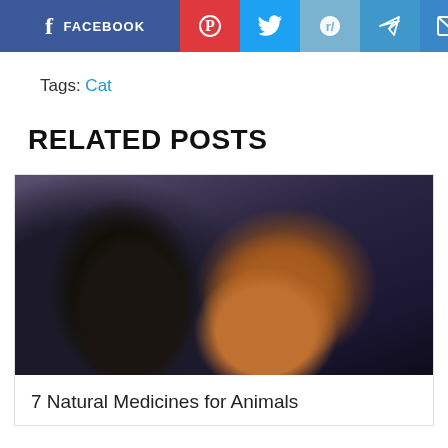[Figure (infographic): Social sharing buttons: Facebook, Pinterest, Twitter, Reddit, Telegram, Email]
Tags: Cat
RELATED POSTS
[Figure (photo): Photo of a black cat and a brown dog facing each other]
7 Natural Medicines for Animals